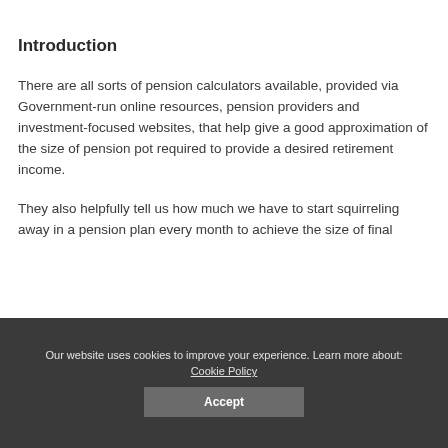Introduction
There are all sorts of pension calculators available, provided via Government-run online resources, pension providers and investment-focused websites, that help give a good approximation of the size of pension pot required to provide a desired retirement income.
They also helpfully tell us how much we have to start squirreling away in a pension plan every month to achieve the size of final
Our website uses cookies to improve your experience. Learn more about: Cookie Policy
Accept